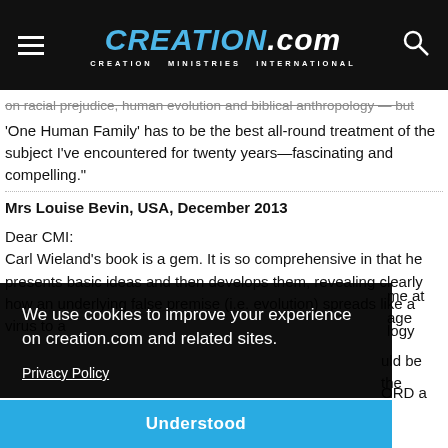CREATION.com — CREATION MINISTRIES INTERNATIONAL
on racial prejudice, human evolution and biblical anthropology — but 'One Human Family' has to be the best all-round treatment of the subject I've encountered for twenty years—fascinating and compelling."
Mrs Louise Bevin, USA, December 2013
Dear CMI:
Carl Wieland's book is a gem. It is so comprehensive in that he presents basic ideas and then develops them, revealing clearly how an underlying false premise (i.e. evolution) spreads like a virus to a
We use cookies to improve your experience on creation.com and related sites.
Privacy Policy
Understood